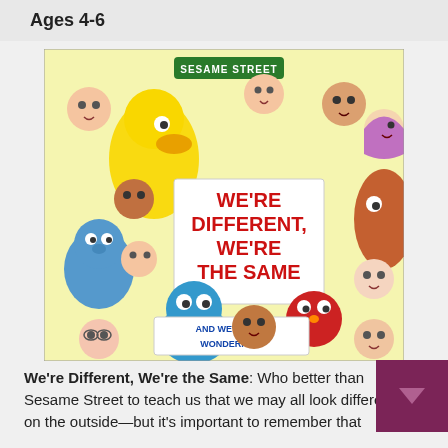Ages 4-6
[Figure (illustration): Book cover of 'We're Different, We're the Same' from Sesame Street featuring Big Bird, Elmo, Grover, Cookie Monster, and many diverse children and muppet characters surrounding a white sign with the book title in red letters. The top has a green Sesame Street sign on a yellow background. Bottom of cover reads 'And We're All Wonderful!']
We're Different, We're the Same: Who better than Sesame Street to teach us that we may all look different on the outside—but it's important to remember that